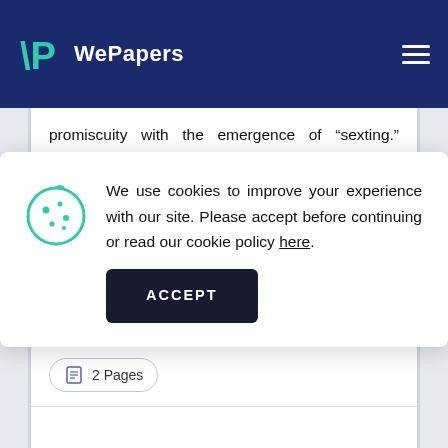WePapers
promiscuity with the emergence of "sexting." Sexting or the exchange of sexually suggestive material over any digital platforms is now being
We use cookies to improve your experience with our site. Please accept before continuing or read our cookie policy here.
Free Creative Writing On Swimming In Wi-Fi
2 Pages